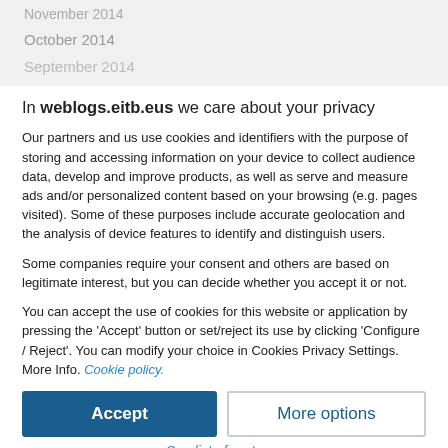November 2014
October 2014
September 2014
In weblogs.eitb.eus we care about your privacy
Our partners and us use cookies and identifiers with the purpose of storing and accessing information on your device to collect audience data, develop and improve products, as well as serve and measure ads and/or personalized content based on your browsing (e.g. pages visited). Some of these purposes include accurate geolocation and the analysis of device features to identify and distinguish users.
Some companies require your consent and others are based on legitimate interest, but you can decide whether you accept it or not.
You can accept the use of cookies for this website or application by pressing the 'Accept' button or set/reject its use by clicking 'Configure / Reject'. You can modify your choice in Cookies Privacy Settings. More Info. Cookie policy.
Accept
More options
See list of partners
[Figure (logo): Sibbo logo with colored dot]
ver 125.38